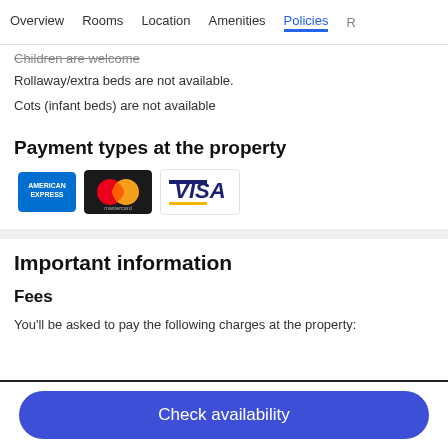Overview | Rooms | Location | Amenities | Policies | R
Children are welcome
Rollaway/extra beds are not available.
Cots (infant beds) are not available
Payment types at the property
[Figure (logo): Payment card logos: American Express, Mastercard, Visa]
Important information
Fees
You'll be asked to pay the following charges at the property:
Check availability